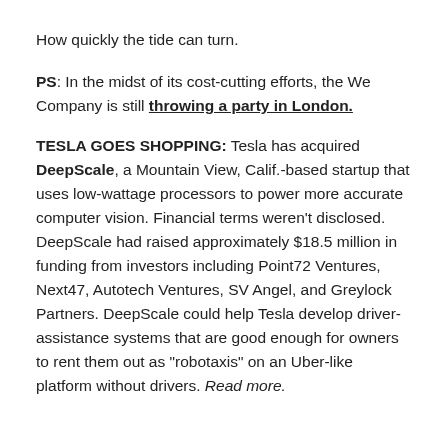How quickly the tide can turn.
PS: In the midst of its cost-cutting efforts, the We Company is still throwing a party in London.
TESLA GOES SHOPPING: Tesla has acquired DeepScale, a Mountain View, Calif.-based startup that uses low-wattage processors to power more accurate computer vision. Financial terms weren't disclosed. DeepScale had raised approximately $18.5 million in funding from investors including Point72 Ventures, Next47, Autotech Ventures, SV Angel, and Greylock Partners. DeepScale could help Tesla develop driver-assistance systems that are good enough for owners to rent them out as “robotaxis” on an Uber-like platform without drivers. Read more.